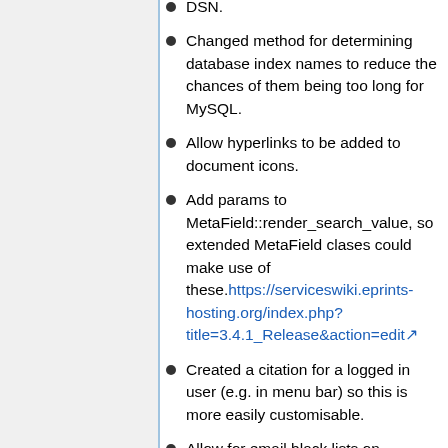DSN.
Changed method for determining database index names to reduce the chances of them being too long for MySQL.
Allow hyperlinks to be added to document icons.
Add params to MetaField::render_search_value, so extended MetaField clases could make use of these. https://serviceswiki.eprints-hosting.org/index.php?title=3.4.1_Release&action=edit
Created a citation for a logged in user (e.g. in menu bar) so this is more easily customisable.
Allow for email black lists on request-a-copy.
Added render_value_function to